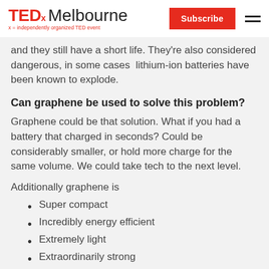TEDx Melbourne — Subscribe
and they still have a short life. They're also considered dangerous, in some cases lithium-ion batteries have been known to explode.
Can graphene be used to solve this problem?
Graphene could be that solution. What if you had a battery that charged in seconds? Could be considerably smaller, or hold more charge for the same volume. We could take tech to the next level.
Additionally graphene is
Super compact
Incredibly energy efficient
Extremely light
Extraordinarily strong